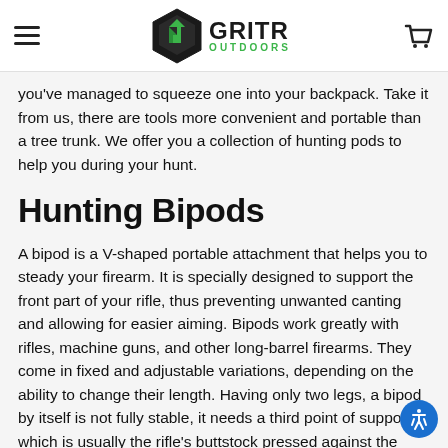GRITR OUTDOORS
you've managed to squeeze one into your backpack. Take it from us, there are tools more convenient and portable than a tree trunk. We offer you a collection of hunting pods to help you during your hunt.
Hunting Bipods
A bipod is a V-shaped portable attachment that helps you to steady your firearm. It is specially designed to support the front part of your rifle, thus preventing unwanted canting and allowing for easier aiming. Bipods work greatly with rifles, machine guns, and other long-barrel firearms. They come in fixed and adjustable variations, depending on the ability to change their length. Having only two legs, a bipod by itself is not fully stable, it needs a third point of support, which is usually the rifle's buttstock pressed against the